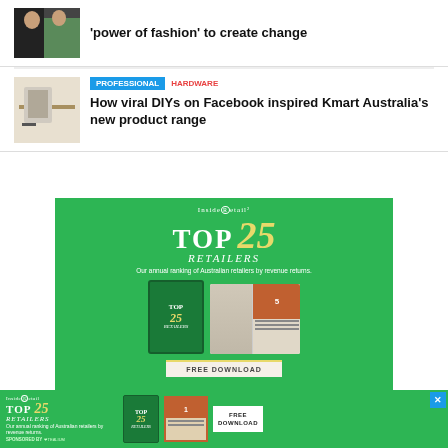[Figure (photo): Thumbnail photo of two people at a fashion event]
'power of fashion' to create change
[Figure (photo): Thumbnail photo of DIY paint product on a table]
PROFESSIONAL  HARDWARE
How viral DIYs on Facebook inspired Kmart Australia's new product range
[Figure (infographic): Inside Retail Top 25 Retailers advertisement banner. Green background with yellow large text reading TOP 25 RETAILERS. Subtitle: Our annual ranking of Australian retailers by revenue returns. Shows magazine/tablet mockups and FREE DOWNLOAD button.]
[Figure (infographic): Sticky bottom banner: Inside Retail Top 25 Retailers ad with FREE DOWNLOAD button and close X button. Sponsored by Tealium.]